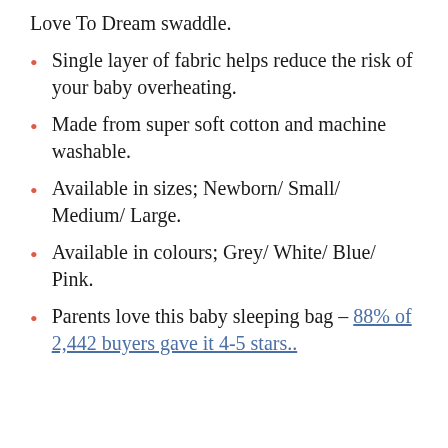Love To Dream swaddle.
Single layer of fabric helps reduce the risk of your baby overheating.
Made from super soft cotton and machine washable.
Available in sizes; Newborn/ Small/ Medium/ Large.
Available in colours; Grey/ White/ Blue/ Pink.
Parents love this baby sleeping bag – 88% of 2,442 buyers gave it 4-5 stars..